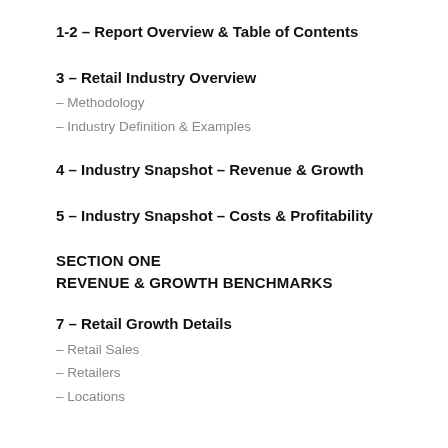1-2 – Report Overview & Table of Contents
3 – Retail Industry Overview
– Methodology
– Industry Definition & Examples
4 – Industry Snapshot – Revenue & Growth
5 – Industry Snapshot – Costs & Profitability
SECTION ONE
REVENUE & GROWTH BENCHMARKS
7 – Retail Growth Details
– Retail Sales
– Retailers
– Locations